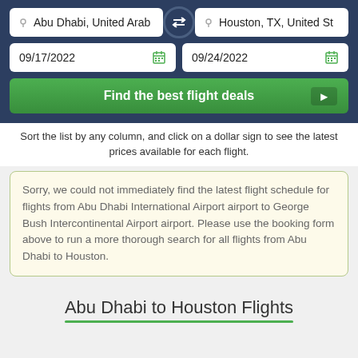[Figure (screenshot): Flight search form with two location fields (Abu Dhabi, United Arab... and Houston, TX, United St), a swap button, two date fields (09/17/2022 and 09/24/2022), and a green Find the best flight deals button]
Sort the list by any column, and click on a dollar sign to see the latest prices available for each flight.
Sorry, we could not immediately find the latest flight schedule for flights from Abu Dhabi International Airport airport to George Bush Intercontinental Airport airport. Please use the booking form above to run a more thorough search for all flights from Abu Dhabi to Houston.
Abu Dhabi to Houston Flights